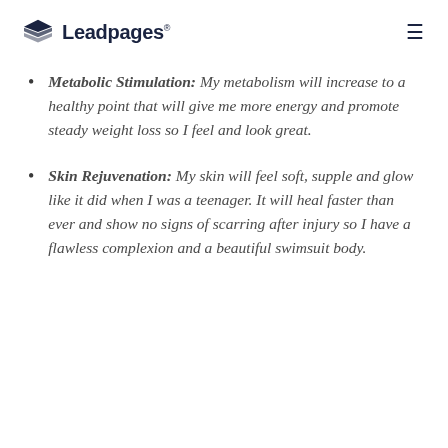Leadpages
Metabolic Stimulation: My metabolism will increase to a healthy point that will give me more energy and promote steady weight loss so I feel and look great.
Skin Rejuvenation: My skin will feel soft, supple and glow like it did when I was a teenager. It will heal faster than ever and show no signs of scarring after injury so I have a flawless complexion and a beautiful swimsuit body.